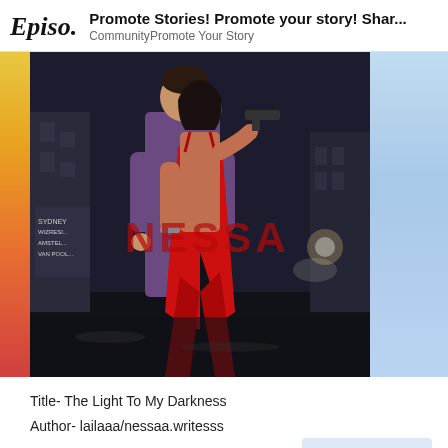Episo. | Promote Stories! Promote your story! Shar... | Community   Promote Your Story
[Figure (illustration): Animated/illustrated cover art for an Episode interactive story. Shows a woman in a red slit dress holding a gun, standing in front of a man in a purple jacket, on a dark city street. Watermark text reads 'NESSA' in red. Background shows city buildings and a motorcycle.]
Title- The Light To My Darkness
Author- lailaaa/nessaa.writesss
Limelight
Chapters- 4 ( More soon)
244 / 288